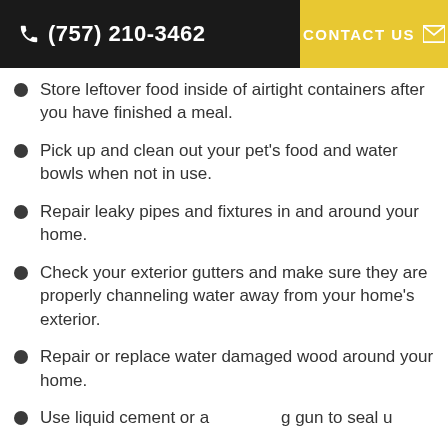(757) 210-3462 | CONTACT US
Store leftover food inside of airtight containers after you have finished a meal.
Pick up and clean out your pet’s food and water bowls when not in use.
Repair leaky pipes and fixtures in and around your home.
Check your exterior gutters and make sure they are properly channeling water away from your home’s exterior.
Repair or replace water damaged wood around your home.
Use liquid cement or a caulking gun to seal up...